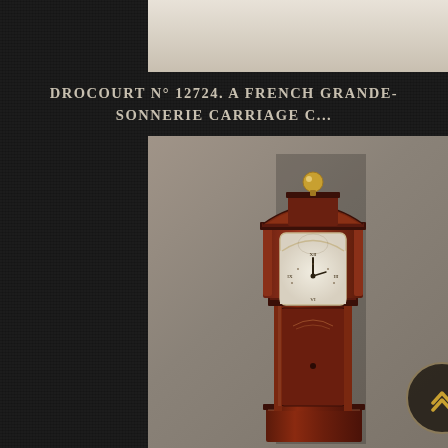[Figure (photo): Partial view of a decorative item against a light beige background, cropped at top]
DROCOURT N° 12724. A FRENCH GRANDE-SONNERIE CARRIAGE C...
[Figure (photo): A tall mahogany grandfather/longcase clock with arched hood, white dial with Roman numerals, gold finial ball on top, against a taupe/grey background]